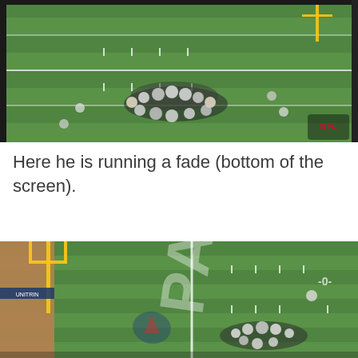[Figure (photo): Aerial view of a New England Patriots NFL football game, showing players lined up at the line of scrimmage on a green field with NFL and Patriots logos visible. The NFL shield watermark is visible in the bottom right corner.]
Here he is running a fade (bottom of the screen).
[Figure (photo): Aerial view of a New England Patriots NFL football game showing the end zone area with PATRIOTS written in the end zone, a yellow goal post on the left side, players grouped near the line of scrimmage, and crowded stands visible on the left edge.]